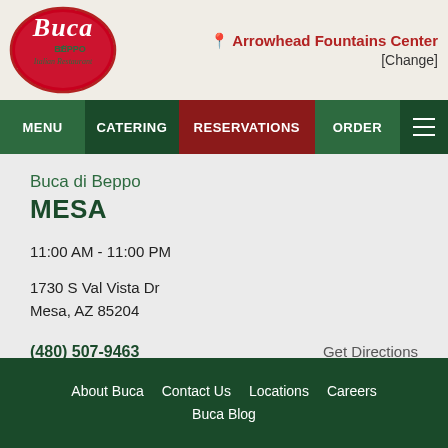[Figure (logo): Buca di Beppo Italian Restaurant logo - red script lettering in circular design]
Arrowhead Fountains Center [Change]
MENU  CATERING  RESERVATIONS  ORDER
Buca di Beppo MESA
11:00 AM - 11:00 PM
1730 S Val Vista Dr
Mesa, AZ 85204
(480) 507-9463  Get Directions
About Buca  Contact Us  Locations  Careers  Buca Blog